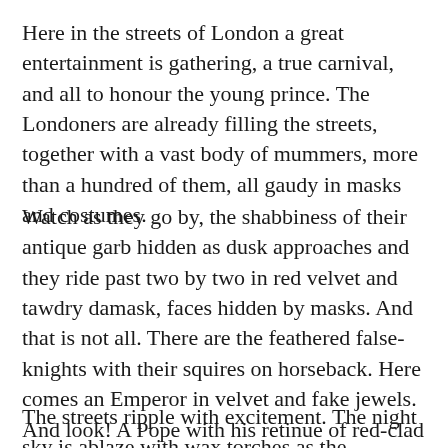Here in the streets of London a great entertainment is gathering, a true carnival, and all to honour the young prince.  The Londoners are already filling the streets, together with a vast body of mummers, more than a hundred of them, all gaudy in masks and costumes.
Watch as they go by, the shabbiness of their antique garb hidden as dusk approaches and they ride past two by two in red velvet and tawdry damask, faces hidden by masks.  And that is not all.  There are the feathered false-knights with their squires on horseback.  Here comes an Emperor in velvet and fake jewels.  And look!  A Pope with his retinue of red-clad cardinals followed by the papal legates, the villains with their frightening black masks.
The streets ripple with excitement.  The night sky is ablaze with wax torches as the townsfolk make their way